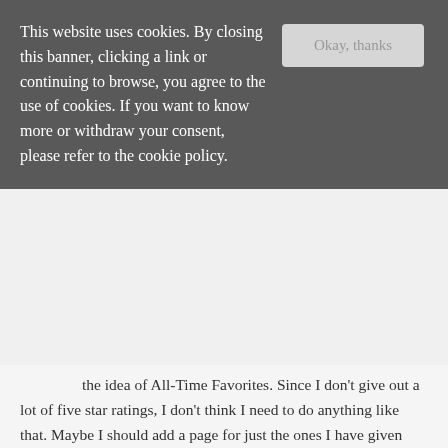This website uses cookies. By closing this banner, clicking a link or continuing to browse, you agree to the use of cookies. If you want to know more or withdraw your consent, please refer to the cookie policy.
the idea of All-Time Favorites. Since I don't give out a lot of five star ratings, I don't think I need to do anything like that. Maybe I should add a page for just the ones I have given five stars.
Jennifer @ Books That Hook recently posted: Against the Wild by Kat Martin ~ Review
april 26, 2015, 8:23 pm
nicole
I don't give five stars out as freely